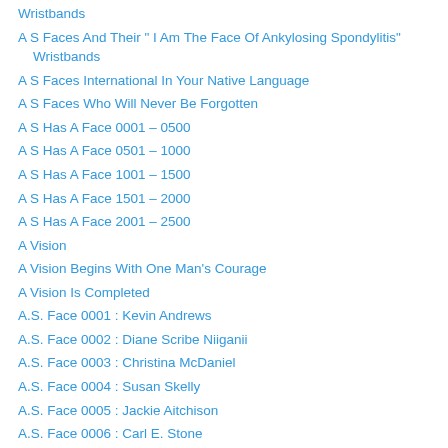Wristbands
A S Faces And Their " I Am The Face Of Ankylosing Spondylitis" Wristbands
A S Faces International In Your Native Language
A S Faces Who Will Never Be Forgotten
A S Has A Face 0001 – 0500
A S Has A Face 0501 – 1000
A S Has A Face 1001 – 1500
A S Has A Face 1501 – 2000
A S Has A Face 2001 – 2500
A Vision
A Vision Begins With One Man's Courage
A Vision Is Completed
A.S. Face 0001 : Kevin Andrews
A.S. Face 0002 : Diane Scribe Niiganii
A.S. Face 0003 : Christina McDaniel
A.S. Face 0004 : Susan Skelly
A.S. Face 0005 : Jackie Aitchison
A.S. Face 0006 : Carl E. Stone
A.S. Face 0007 : Jenn Farrell